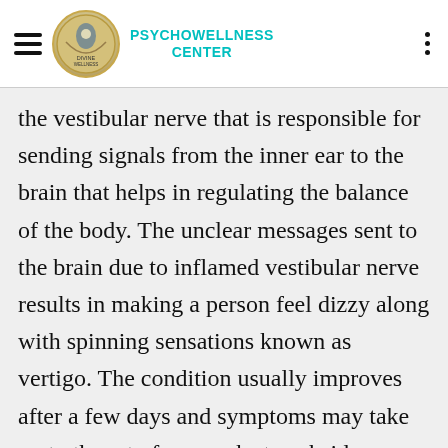PSYCHOWELLNESS CENTER
the vestibular nerve that is responsible for sending signals from the inner ear to the brain that helps in regulating the balance of the body. The unclear messages sent to the brain due to inflamed vestibular nerve results in making a person feel dizzy along with spinning sensations known as vertigo. The condition usually improves after a few days and symptoms may take up to three to four weeks to subside completely. A person suffering from Vestibular Neuritis experiences repeated